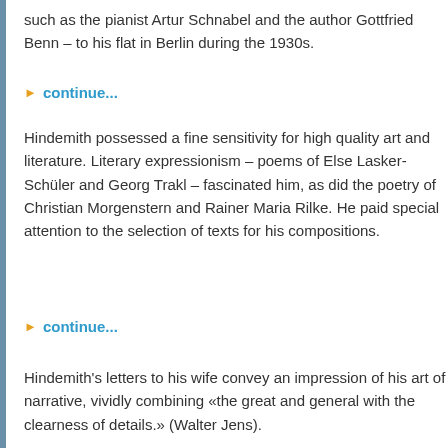such as the pianist Artur Schnabel and the author Gottfried Benn – to his flat in Berlin during the 1930s.
continue...
Hindemith possessed a fine sensitivity for high quality art and literature. Literary expressionism – poems of Else Lasker-Schüler and Georg Trakl – fascinated him, as did the poetry of Christian Morgenstern and Rainer Maria Rilke. He paid special attention to the selection of texts for his compositions.
continue...
Hindemith's letters to his wife convey an impression of his art of narrative, vividly combining «the great and general with the clearness of details.» (Walter Jens).
continue...
Hindemith, the Man
[Figure (photo): Interior photograph of Villa La Chance showing a room with chandelier and framed artwork on walls]